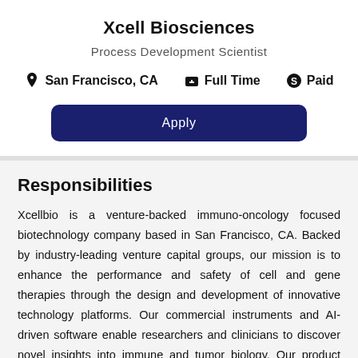Xcell Biosciences
Process Development Scientist
San Francisco, CA   Full Time   Paid
Apply
Responsibilities
Xcellbio is a venture-backed immuno-oncology focused biotechnology company based in San Francisco, CA. Backed by industry-leading venture capital groups, our mission is to enhance the performance and safety of cell and gene therapies through the design and development of innovative technology platforms. Our commercial instruments and AI-driven software enable researchers and clinicians to discover novel insights into immune and tumor biology. Our product development team is working to translate these insights towards translational medicine, through the development of novel cell therapy manufacturing technologies. We are focused specifically on cell